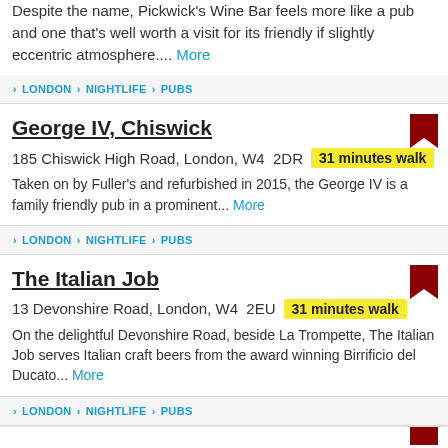Despite the name, Pickwick's Wine Bar feels more like a pub and one that's well worth a visit for its friendly if slightly eccentric atmosphere.... More
LONDON › NIGHTLIFE › PUBS
George IV, Chiswick
185 Chiswick High Road, London, W4 2DR  31 minutes walk
Taken on by Fuller's and refurbished in 2015, the George IV is a family friendly pub in a prominent... More
LONDON › NIGHTLIFE › PUBS
The Italian Job
13 Devonshire Road, London, W4 2EU  31 minutes walk
On the delightful Devonshire Road, beside La Trompette, The Italian Job serves Italian craft beers from the award winning Birrificio del Ducato... More
LONDON › NIGHTLIFE › PUBS